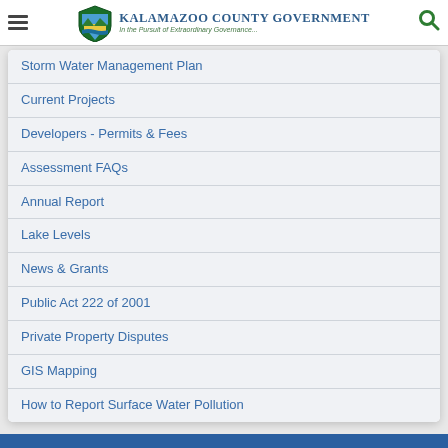Kalamazoo County Government — In the Pursuit of Extraordinary Governance...
Storm Water Management Plan
Current Projects
Developers - Permits & Fees
Assessment FAQs
Annual Report
Lake Levels
News & Grants
Public Act 222 of 2001
Private Property Disputes
GIS Mapping
How to Report Surface Water Pollution